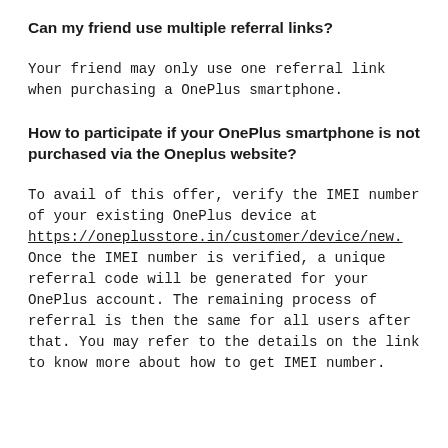Can my friend use multiple referral links?
Your friend may only use one referral link when purchasing a OnePlus smartphone.
How to participate if your OnePlus smartphone is not purchased via the Oneplus website?
To avail of this offer, verify the IMEI number of your existing OnePlus device at https://oneplusstore.in/customer/device/new. Once the IMEI number is verified, a unique referral code will be generated for your OnePlus account. The remaining process of referral is then the same for all users after that. You may refer to the details on the link to know more about how to get IMEI number.